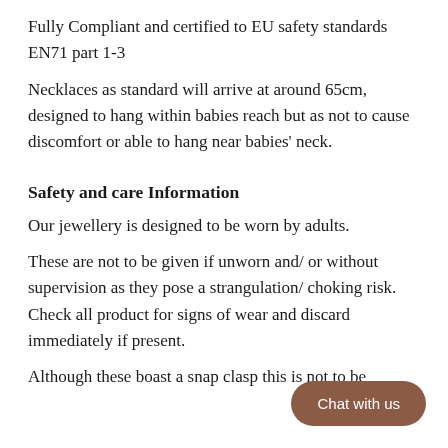Fully Compliant and certified to EU safety standards EN71 part 1-3
Necklaces as standard will arrive at around 65cm, designed to hang within babies reach but as not to cause discomfort or able to hang near babies' neck.
Safety and care Information
Our jewellery is designed to be worn by adults.
These are not to be given if unworn and/ or without supervision as they pose a strangulation/ choking risk. Check all product for signs of wear and discard immediately if present.
Although these boast a snap clasp this is not to be